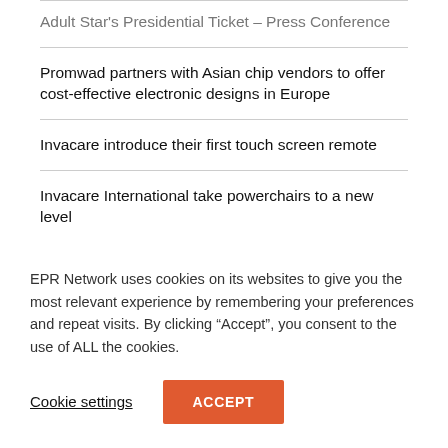Adult Star's Presidential Ticket – Press Conference
Promwad partners with Asian chip vendors to offer cost-effective electronic designs in Europe
Invacare introduce their first touch screen remote
Invacare International take powerchairs to a new level
Industrial Laser Peening Research at ZAL Techcenter
Blind Children Find New Hope Through Music in Wuhan, China
Segu has launched its first KickStarter Campaign
EPR Network uses cookies on its websites to give you the most relevant experience by remembering your preferences and repeat visits. By clicking “Accept”, you consent to the use of ALL the cookies.
Cookie settings
ACCEPT